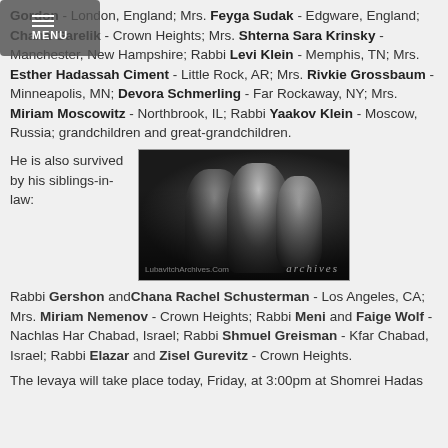Gordon - London, England; Mrs. Feyga Sudak - Edgware, England; Chana Garelik - Crown Heights; Mrs. Shterna Sara Krinsky - Manchester, New Hampshire; Rabbi Levi Klein - Memphis, TN; Mrs. Esther Hadassah Ciment - Little Rock, AR; Mrs. Rivkie Grossbaum - Minneapolis, MN; Devora Schmerling - Far Rockaway, NY; Mrs. Miriam Moscowitz - Northbrook, IL; Rabbi Yaakov Klein - Moscow, Russia; grandchildren and great-grandchildren.
He is also survived by his siblings-in-law:
[Figure (photo): Black and white photograph of a group of people, including a rabbi with a white beard and black hat, surrounded by others at what appears to be a public gathering. Watermark reads 'archives' and 'LubavitchArchives.Com'.]
Rabbi Gershon and Chana Rachel Schusterman - Los Angeles, CA; Mrs. Miriam Nemenov - Crown Heights; Rabbi Meni and Faige Wolf - Nachlas Har Chabad, Israel; Rabbi Shmuel Greisman - Kfar Chabad, Israel; Rabbi Elazar and Zisel Gurevitz - Crown Heights.
The levaya will take place today, Friday, at 3:00pm at Shomrei Hadas